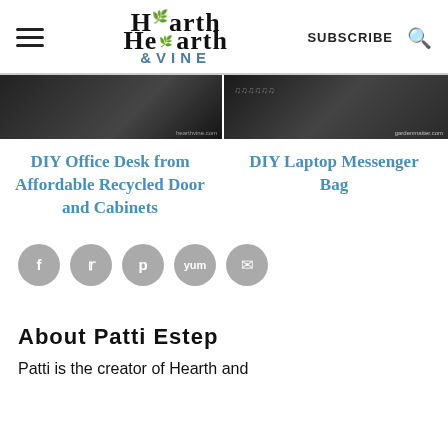Hearth & Vine — SUBSCRIBE
[Figure (photo): Two cropped article thumbnail images side by side — left shows a dimly lit room/desk, right shows a dark background with text 'gardenmatter.com']
DIY Office Desk from Affordable Recycled Door and Cabinets
DIY Laptop Messenger Bag
[Figure (infographic): Five gray circular social sharing buttons: Facebook (f), Twitter (bird/t), Pinterest (p), Yummly (yum), Email (envelope)]
About Patti Estep
Patti is the creator of Hearth and